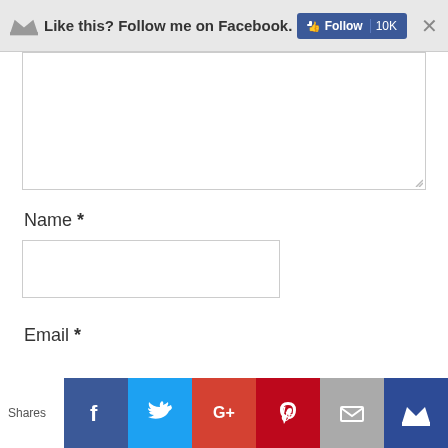[Figure (screenshot): Social media follow banner at top: crown icon, 'Like this? Follow me on Facebook.' text, blue Facebook Follow 10K button, and X close button on grey background]
[Figure (screenshot): Comment textarea input box, partially visible, white background with border and resize handle]
Name *
[Figure (screenshot): Name text input field, empty, with border]
Email *
[Figure (screenshot): Social share bar at bottom: Shares label, Facebook (f), Twitter (bird), Google+ (G+), Pinterest (P), Email (envelope), Crown share buttons in colored blocks]